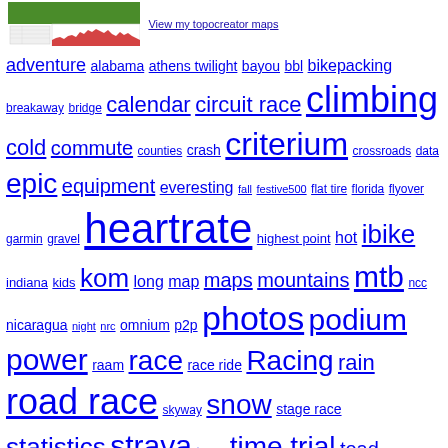[Figure (screenshot): Thumbnail image showing a topocreator map with green terrain and a red elevation profile chart below it]
View my topocreator maps
adventure alabama athens twilight bayou bbl bikepacking breakaway bridge calendar circuit race climbing cold commute counties crash criterium crossroads data epic equipment everesting fall festive500 flat tire florida flyover garmin gravel heartrate highest point hot ibike indiana kids kom long map maps mountains mtb ncc nicaragua night nrc omnium p2p photos podium power raam race race ride Racing rain road race skyway snow stage race statistics strava team time trial toad topocreator tornado Training travel twilight ultra usacrits vacation video videos weather wisconsin